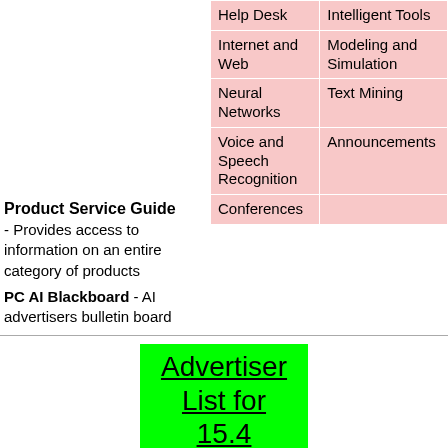|  |  |
| --- | --- |
| Help Desk | Intelligent Tools |
| Internet and Web | Modeling and Simulation |
| Neural Networks | Text Mining |
| Voice and Speech Recognition | Announcements |
| Conferences |  |
Product Service Guide
- Provides access to information on an entire category of products
PC AI Blackboard - AI advertisers bulletin board
[Figure (other): Green box with underlined text 'Advertiser List for 15.4' and green row below with 'Rule' label]